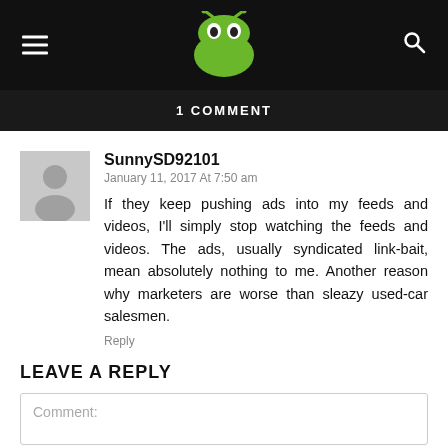AndroidPIT header with hamburger menu, logo, and search icon
1 COMMENT
SunnySD92101
January 11, 2017 At 7:50 am
If they keep pushing ads into my feeds and videos, I'll simply stop watching the feeds and videos. The ads, usually syndicated link-bait, mean absolutely nothing to me. Another reason why marketers are worse than sleazy used-car salesmen.
Reply
LEAVE A REPLY
Comment: